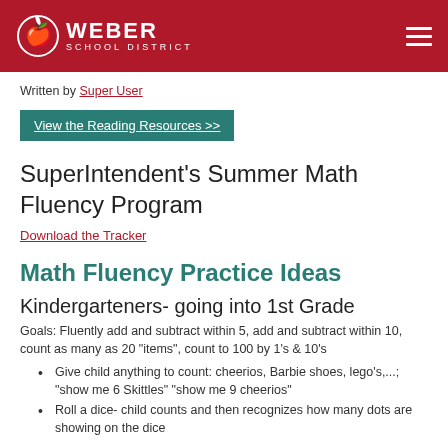Weber School District
Written by Super User
View the Reading Resources >>
SuperIntendent's Summer Math Fluency Program
Download the Tracker
Math Fluency Practice Ideas
Kindergarteners- going into 1st Grade
Goals:  Fluently add and subtract within 5, add and subtract within 10, count as many as 20 "items", count to 100 by 1's & 10's
Give child anything to count: cheerios, Barbie shoes, lego's,...; "show me 6 Skittles" "show me 9 cheerios"
Roll a dice- child counts and then recognizes how many dots are showing on the dice